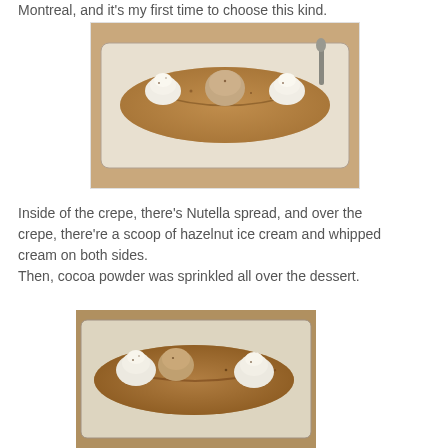Montreal, and it's my first time to choose this kind.
[Figure (photo): A rectangular white speckled plate with a folded crepe, topped with two dollops of whipped cream on each side and a scoop of hazelnut ice cream in the center, dusted with cocoa powder. A spoon is visible in the upper right corner.]
Inside of the crepe, there's Nutella spread, and over the crepe, there're a scoop of hazelnut ice cream and whipped cream on both sides.
Then, cocoa powder was sprinkled all over the dessert.
[Figure (photo): A closer view of the same rectangular white speckled plate with a crepe, two whipped cream dollops and two scoops of hazelnut ice cream, dusted with cocoa powder.]